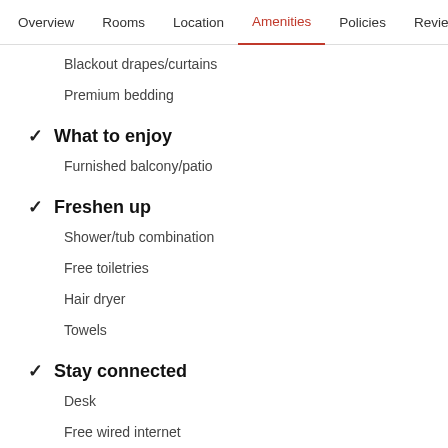Overview  Rooms  Location  Amenities  Policies  Reviews
Blackout drapes/curtains
Premium bedding
What to enjoy
Furnished balcony/patio
Freshen up
Shower/tub combination
Free toiletries
Hair dryer
Towels
Stay connected
Desk
Free wired internet
Phone
Food and drink